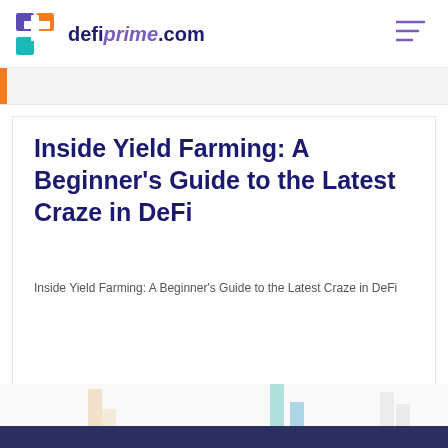defiprime.com
Inside Yield Farming: A Beginner's Guide to the Latest Craze in DeFi
Inside Yield Farming: A Beginner's Guide to the Latest Craze in DeFi